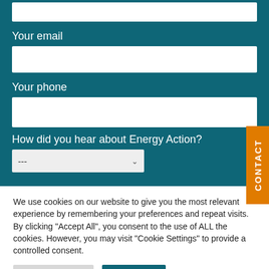Your email
Your phone
How did you hear about Energy Action?
We use cookies on our website to give you the most relevant experience by remembering your preferences and repeat visits. By clicking "Accept All", you consent to the use of ALL the cookies. However, you may visit "Cookie Settings" to provide a controlled consent.
Cookie Settings
Accept All